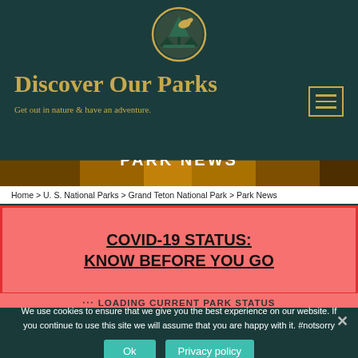[Figure (logo): Discover Our Parks circular logo with mountains and trees]
Discover Our Parks
Get out in nature & have an adventure.
[Figure (screenshot): Grand Teton National Park hero banner image with autumn foliage]
GRAND TETON NATIONAL PARK
PARK NEWS
Home > U. S. National Parks > Grand Teton National Park > Park News
COVID-19 STATUS:
KNOW BEFORE YOU GO
⠿ LOADING CURRENT PARK STATUS
We use cookies to ensure that we give you the best experience on our website. If you continue to use this site we will assume that you are happy with it. #notsorry